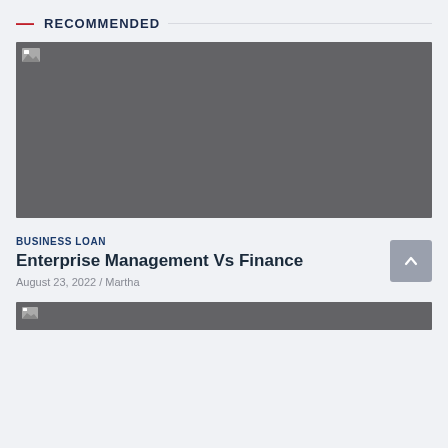RECOMMENDED
[Figure (photo): Large image placeholder with grey background, broken image icon in top-left corner]
BUSINESS LOAN
Enterprise Management Vs Finance
August 23, 2022 / Martha
[Figure (photo): Partial image placeholder at bottom with grey background and broken image icon]